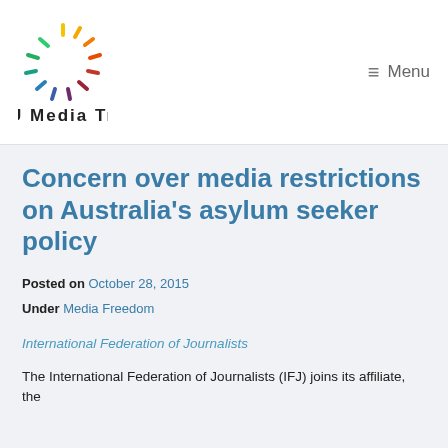[Figure (logo): CPU Media Trust logo with colorful circular dash pattern and bold text]
≡ Menu
Concern over media restrictions on Australia's asylum seeker policy
Posted on October 28, 2015
Under Media Freedom
International Federation of Journalists
The International Federation of Journalists (IFJ) joins its affiliate, the